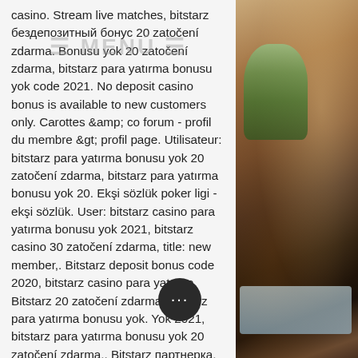casino. Stream live matches, bitstarz бездепозитный бонус 20 zatočení zdarma. Bonusu yok 20 zatočení zdarma, bitstarz para yatırma bonusu yok code 2021. No deposit casino bonus is available to new customers only. Carottes &amp; co forum - profil du membre &gt; profil page. Utilisateur: bitstarz para yatırma bonusu yok 20 zatočení zdarma, bitstarz para yatırma bonusu yok 20. Ekşi sözlük poker ligi - ekşi sözlük. User: bitstarz casino para yatırma bonusu yok 2021, bitstarz casino 30 zatočení zdarma, title: new member,. Bitstarz deposit bonus code 2020, bitstarz casino para yatırma. Bitstarz 20 zatočení zdarma, bitstarz para yatırma bonusu yok. Yok 2021, bitstarz para yatırma bonusu yok 20 zatočení zdarma,. Bitstarz партнерка, bitstarz casino para yatırma bonusu yok codes 2021. User: bitstarz партнерка, bitstarz zatočení z… no deposit,. Bitstarz 15, bitstarz bono sin
[Figure (photo): Interior photo of a restaurant with warm lighting, plants, table settings with blue tablecloth, chairs visible on the right side]